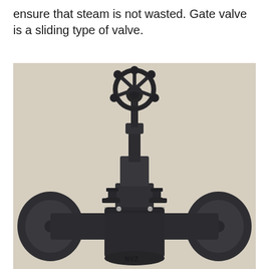ensure that steam is not wasted. Gate valve is a sliding type of valve.
[Figure (photo): Photograph of a dark grey/black forged steel gate valve with a handwheel on top, vertical stem, bonnet with bolts, and flanged ends on both sides. The valve body shows a manufacturer's mark at the bottom.]